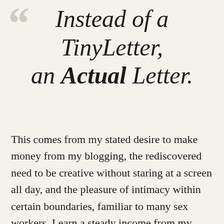Instead of a TinyLetter, an Actual Letter.
This comes from my stated desire to make money from my blogging, the rediscovered need to be creative without staring at a screen all day, and the pleasure of intimacy within certain boundaries, familiar to many sex workers. I earn a steady income from my blogging, which my creditors also